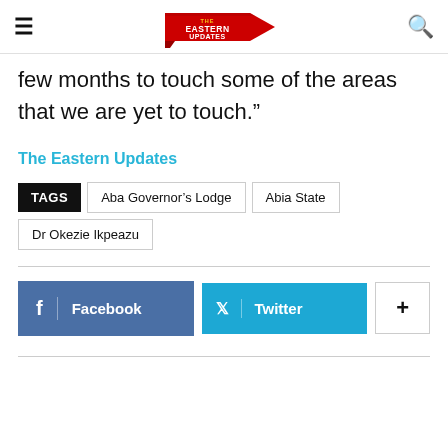The Eastern Updates
few months to touch some of the areas that we are yet to touch.”
The Eastern Updates
TAGS  Aba Governor’s Lodge  Abia State  Dr Okezie Ikpeazu
Facebook  Twitter  +